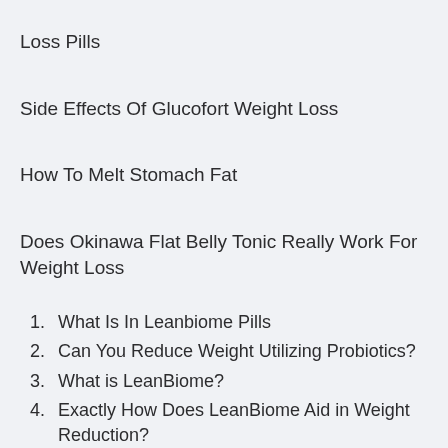Loss Pills
Side Effects Of Glucofort Weight Loss
How To Melt Stomach Fat
Does Okinawa Flat Belly Tonic Really Work For Weight Loss
1. What Is In Leanbiome Pills
2. Can You Reduce Weight Utilizing Probiotics?
3. What is LeanBiome?
4. Exactly How Does LeanBiome Aid in Weight Reduction?
5. What is Inside the LeanBiome Formula?